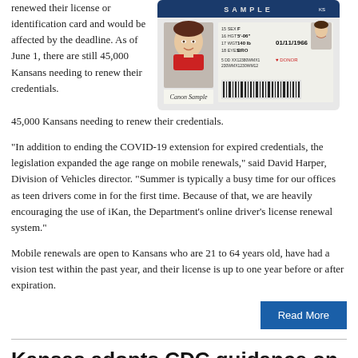renewed their license or identification card and would be affected by the deadline. As of June 1, there are still 45,000 Kansans needing to renew their credentials.
[Figure (photo): Sample Kansas driver's license ID card showing a woman named Canon Sample with photo, birth date 01/11/1966, weight 140 lb, eyes BRO, donor designation]
“In addition to ending the COVID-19 extension for expired credentials, the legislation expanded the age range on mobile renewals,” said David Harper, Division of Vehicles director. “Summer is typically a busy time for our offices as teen drivers come in for the first time. Because of that, we are heavily encouraging the use of iKan, the Department’s online driver’s license renewal system.”
Mobile renewals are open to Kansans who are 21 to 64 years old, have had a vision test within the past year, and their license is up to one year before or after expiration.
Read More
Kansas adopts CDC guidance on mask-wearing; vaccine now available for 12 and older